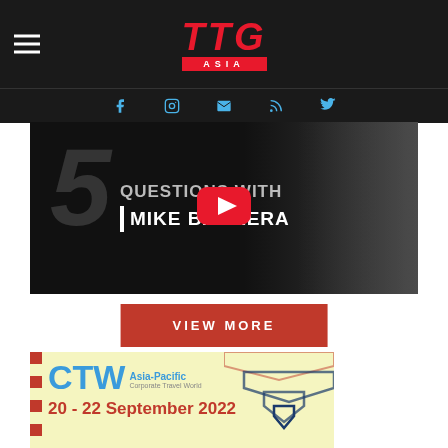TTG Asia
[Figure (screenshot): TTG Asia website screenshot showing navigation header with hamburger menu, TTG Asia logo in red and white, and social media icons (Facebook, Instagram, Email, RSS, Twitter) on dark background]
[Figure (screenshot): Video thumbnail showing '5 Questions with Mike Barrera' with YouTube play button overlay, person visible on right side]
VIEW MORE
[Figure (screenshot): CTW Asia-Pacific Corporate Travel World advertisement banner showing logo and date 20-22 September 2022 with decorative chevron elements on yellow-cream background]